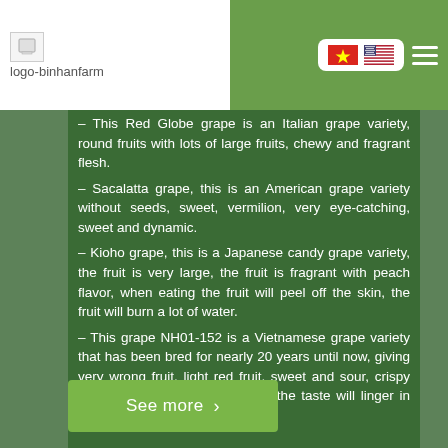[Figure (logo): logo-binhanfarm placeholder image with text 'logo-binhanfarm']
– This Red Globe grape is an Italian grape variety, round fruits with lots of large fruits, chewy and fragrant flesh.
– Sacalatta grape, this is an American grape variety without seeds, sweet, vermilion, very eye-catching, sweet and dynamic.
– Kioho grape, this is a Japanese candy grape variety, the fruit is very large, the fruit is fragrant with peach flavor, when eating the fruit will peel off the skin, the fruit will burn a lot of water.
– This grape NH01-152 is a Vietnamese grape variety that has been bred for nearly 20 years until now, giving very wrong fruit, light red fruit, sweet and sour, crispy meat, light aroma, when eaten, the taste will linger in the mouth for a long time.